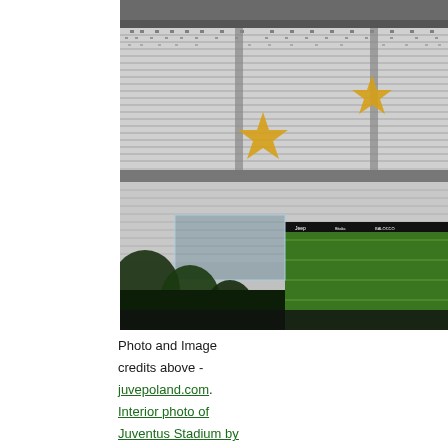[Figure (photo): Interior photo of Juventus Stadium showing white seating sections with two yellow star patterns formed by colored seats, a green football pitch visible at right, dark foreground structure/trees, advertising boards along the pitch, and glass panels. Black and white dotted seat patterns fill the upper tiers.]
Photo and Image credits above - juvepoland.com. Interior photo of Juventus Stadium by Marco Massabue.